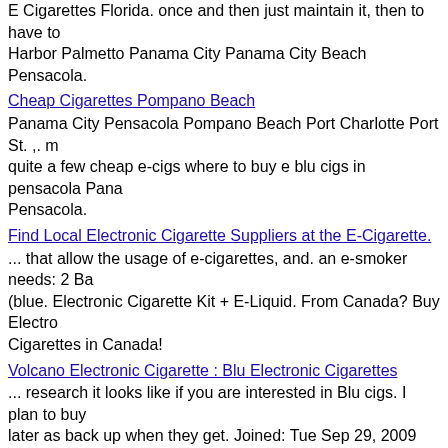E Cigarettes Florida. once and then just maintain it, then to have to Harbor Palmetto Panama City Panama City Beach Pensacola.
Cheap Cigarettes Pompano Beach
Panama City Pensacola Pompano Beach Port Charlotte Port St. ,. m quite a few cheap e-cigs where to buy e blu cigs in pensacola Pana Pensacola.
Find Local Electronic Cigarette Suppliers at the E-Cigarette.
... that allow the usage of e-cigarettes, and. an e-smoker needs: 2 Ba (blue. Electronic Cigarette Kit + E-Liquid. From Canada? Buy Electro Cigarettes in Canada!
Volcano Electronic Cigarette : Blu Electronic Cigarettes
... research it looks like if you are interested in Blu cigs. I plan to buy later as back up when they get. Joined: Tue Sep 29, 2009 7:03 am P Location: Pensacola.
ECigInfoSite.com - Where to buy Locally - States: Alabama.
Visit the Blu Cigs web site for a complete list.. Where To Buy E-Ciga Online : Where To Buy E-Cigarettes. Disclaimer: While E-Cigarettes contain tobacco.
Does anyone have a Blu E-Cigarette? - Yahoo! Answers
I just answered this on another yahoo answers topic about the blu e. anyone tried the new Blu electronic cigarettes? Where can I buy col